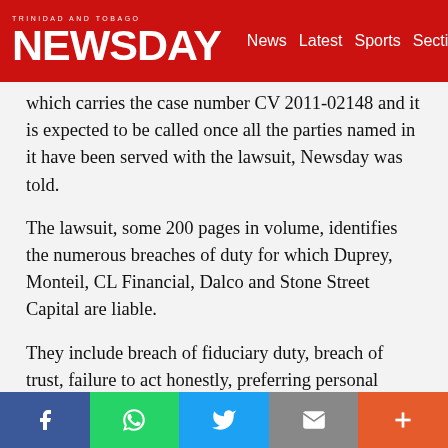TRINIDAD AND TOBAGO NEWSDAY — News  Latest  Sports  Sections
which carries the case number CV 2011-02148 and it is expected to be called once all the parties named in it have been served with the lawsuit, Newsday was told.
The lawsuit, some 200 pages in volume, identifies the numerous breaches of duty for which Duprey, Monteil, CL Financial, Dalco and Stone Street Capital are liable.
They include breach of fiduciary duty, breach of trust, failure to act honestly, preferring personal interests, using their position to make profits and
Facebook  WhatsApp  Twitter  Email  More